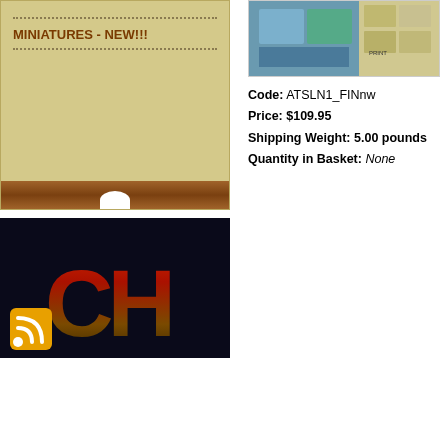MINIATURES - NEW!!!
[Figure (photo): Dark navy background with large red-to-dark gradient 'CH' letters logo and an orange RSS feed icon in the lower left corner]
[Figure (photo): Product image showing what appears to be a miniatures game board and cards/sheets]
Code: ATSLN1_FINnw
Price: $109.95
Shipping Weight: 5.00 pounds
Quantity in Basket: None